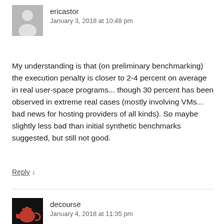[Figure (illustration): Gray avatar icon of a person silhouette]
ericastor
January 3, 2018 at 10:48 pm
My understanding is that (on preliminary benchmarking) the execution penalty is closer to 2-4 percent on average in real user-space programs... though 30 percent has been observed in extreme real cases (mostly involving VMs... bad news for hosting providers of all kinds). So maybe slightly less bad than initial synthetic benchmarks suggested, but still not good.
Reply ↓
[Figure (illustration): Dark background avatar with red teapot icon]
decourse
January 4, 2018 at 11:35 pm